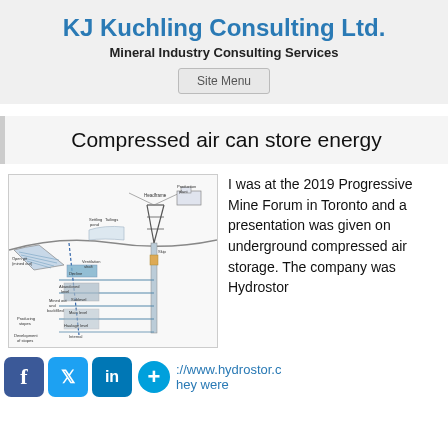KJ Kuchling Consulting Ltd.
Mineral Industry Consulting Services
Site Menu
Compressed air can store energy
[Figure (engineering-diagram): Cross-section engineering diagram of an underground mine showing headframe, production plant, settling pond, tailings, skip, ventilation shaft, decline, open pit (mined out), abandoned level, sublevel, main level, haulage level, internal level, mined out and backfilled areas, and producing stopes.]
I was at the 2019 Progressive Mine Forum in Toronto and a presentation was given on underground compressed air storage. The company was Hydrostor
://www.hydrostor.c hey were